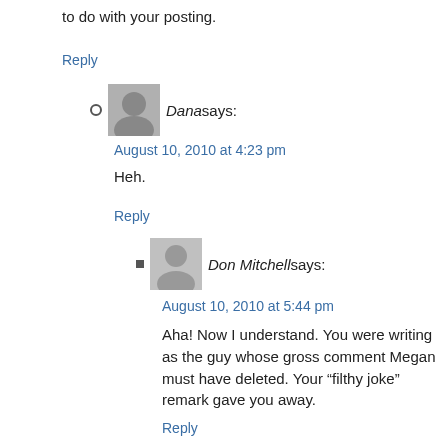to do with your posting.
Reply
Dana says:
August 10, 2010 at 4:23 pm
Heh.
Reply
Don Mitchell says:
August 10, 2010 at 5:44 pm
Aha! Now I understand. You were writing as the guy whose gross comment Megan must have deleted. Your “filthy joke” remark gave you away.
Reply
Matt says:
August 10, 2010 at 4:20 pm
Wait, wait….this isn’t just Smithson pulling a Tao Lin and creating a new online persona to post under?